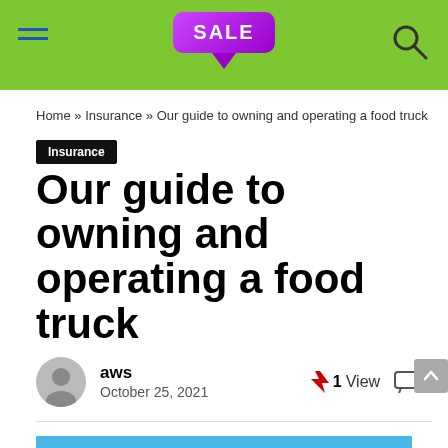SALE
Home » Insurance » Our guide to owning and operating a food truck
Insurance
Our guide to owning and operating a food truck
aws
October 25, 2021
⚡ 1 View  💬 0
[Figure (illustration): Illustration of a food truck with TACOS sign, set against a bright blue sky with sun and clouds]